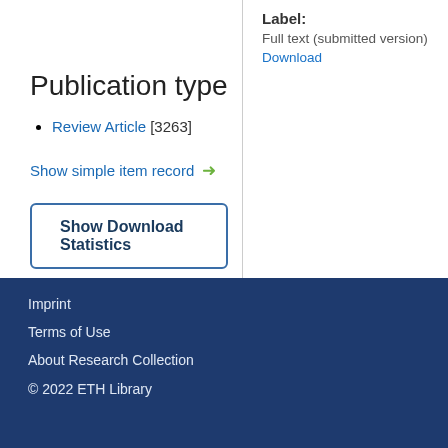Label: Full text (submitted version) Download
Publication type
Review Article [3263]
Show simple item record →
Show Download Statistics
Imprint
Terms of Use
About Research Collection
© 2022 ETH Library